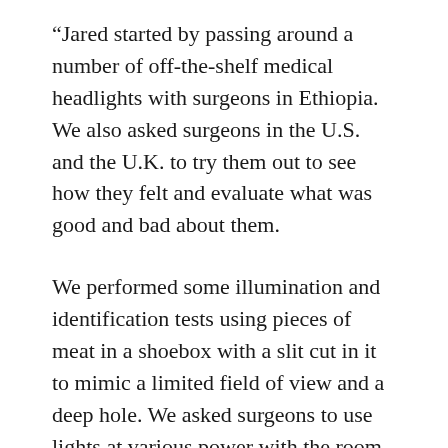“Jared started by passing around a number of off-the-shelf medical headlights with surgeons in Ethiopia. We also asked surgeons in the U.S. and the U.K. to try them out to see how they felt and evaluate what was good and bad about them.
We performed some illumination and identification tests using pieces of meat in a shoebox with a slit cut in it to mimic a limited field of view and a deep hole. We asked surgeons to use lights at various power with the room lights off, with just the room lights on and with overhead surgical lights focused on the field. That way we could evaluate the range of light